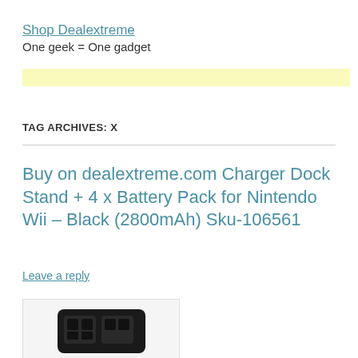Shop Dealextreme
One geek = One gadget
TAG ARCHIVES: X
Buy on dealextreme.com Charger Dock Stand + 4 x Battery Pack for Nintendo Wii – Black (2800mAh) Sku-106561
Leave a reply
[Figure (photo): Product photo of a black Charger Dock Stand for Nintendo Wii, partially visible at bottom of page]